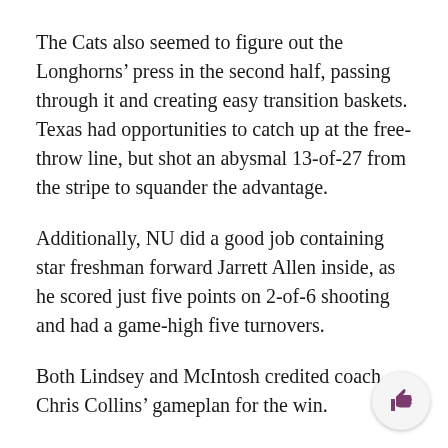The Cats also seemed to figure out the Longhorns’ press in the second half, passing through it and creating easy transition baskets. Texas had opportunities to catch up at the free-throw line, but shot an abysmal 13-of-27 from the stripe to squander the advantage.
Additionally, NU did a good job containing star freshman forward Jarrett Allen inside, as he scored just five points on 2-of-6 shooting and had a game-high five turnovers.
Both Lindsey and McIntosh credited coach Chris Collins’ gameplan for the win.
“We had great preparation,” Lindsey said. “We knew that they were an athletic team, a driving team.”
NU held on to the lead and extended it to 19 with a 3-pointer from freshman guard Isiah Brown with 9:27 left. The Longhorns made a run to tighten the game, pulling